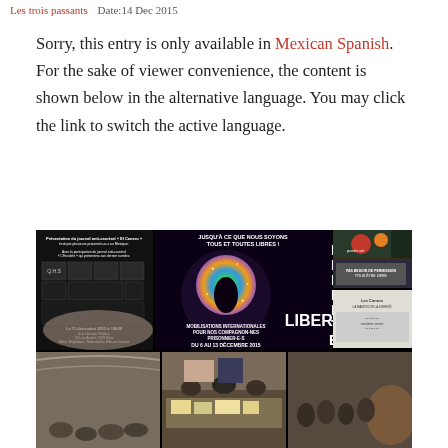Les trois passants   Date:14 Dec 2015
Sorry, this entry is only available in Mexican Spanish. For the sake of viewer convenience, the content is shown below in the alternative language. You may click the link to switch the active language.
[Figure (photo): Collage of images related to an anti-prison event in Paris December 2015. Top row shows: (1) a black poster for presentation of anti-carceral journal 'El Canero' at Librairie Publico on 11 December 2015; (2) a colorful poster reading 'JUSQU'A CE QUE NOUS SOYONS TOUS ET TOUTES LIBRES!' with 'LIBERTE' vertically and 'MOBILISATIONS INTERNATIONALES POUR NOS COMPAGNON-NES PRISONNIER-E-S DU 6 AU 13 DECEMBRE 2015'; (3) right column with two smaller images. Bottom row shows three photos of people gathered at an event in what appears to be a vaulted space.]